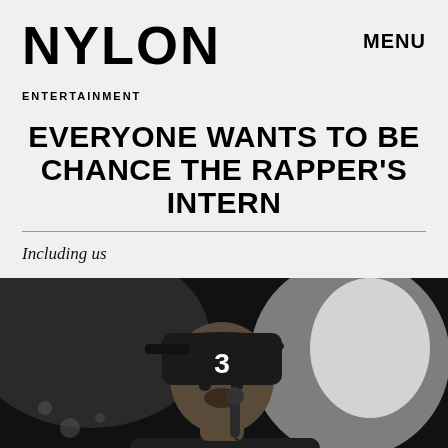NYLON   MENU
ENTERTAINMENT
EVERYONE WANTS TO BE CHANCE THE RAPPER'S INTERN
Including us
[Figure (photo): Black and white photograph of Chance the Rapper performing on stage, holding a microphone to his mouth, wearing a cap with the number 3, pointing with his left hand toward the audience.]